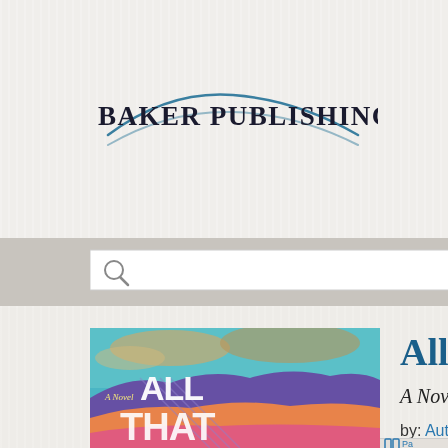[Figure (logo): Baker Publishing Group logo with dark serif text and a teal/blue swooping oval outline beneath it]
[Figure (screenshot): Search bar with magnifying glass icon on left and 'search b' text visible on right, on a gray background strip]
[Figure (photo): Book cover for 'All That...' - a novel, with colorful abstract artwork showing mountains and sky in blue, purple, orange and pink tones with white hand-lettered title text]
All Th
A Novel
by: Autum